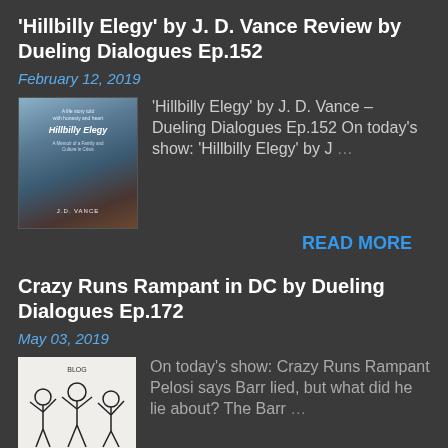'Hillbilly Elegy' by J. D. Vance Review by Dueling Dialogues Ep.152
February 12, 2019
[Figure (illustration): Book cover of Hillbilly Elegy by J.D. Vance with dark stormy sky and landscape]
'Hillbilly Elegy' by J. D. Vance – Dueling Dialogues Ep.152 On today's show: 'Hillbilly Elegy' by J …
READ MORE
Crazy Runs Rampant in DC by Dueling Dialogues Ep.172
May 03, 2019
[Figure (illustration): Black and white cartoon/illustration showing figures with raised arms or gestures]
On today's show: Crazy Runs Rampant Pelosi says Barr lied, but what did he lie about? The Barr …